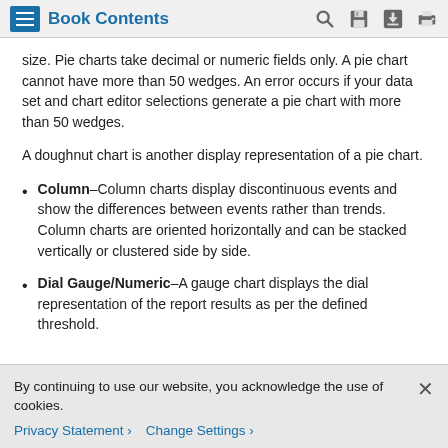Book Contents
size. Pie charts take decimal or numeric fields only. A pie chart cannot have more than 50 wedges. An error occurs if your data set and chart editor selections generate a pie chart with more than 50 wedges.
A doughnut chart is another display representation of a pie chart.
Column–Column charts display discontinuous events and show the differences between events rather than trends. Column charts are oriented horizontally and can be stacked vertically or clustered side by side.
Dial Gauge/Numeric–A gauge chart displays the dial representation of the report results as per the defined threshold.
By continuing to use our website, you acknowledge the use of cookies.
Privacy Statement › Change Settings ›